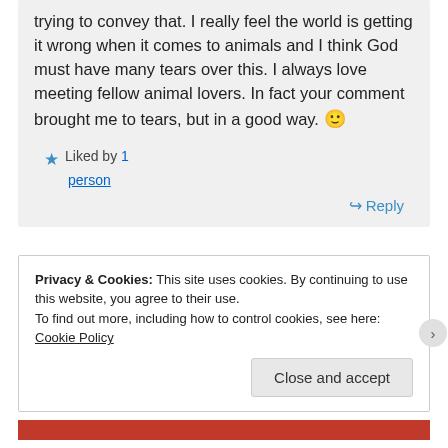trying to convey that. I really feel the world is getting it wrong when it comes to animals and I think God must have many tears over this. I always love meeting fellow animal lovers. In fact your comment brought me to tears, but in a good way. 🙂
★ Liked by 1 person
↪ Reply
Privacy & Cookies: This site uses cookies. By continuing to use this website, you agree to their use. To find out more, including how to control cookies, see here: Cookie Policy
Close and accept